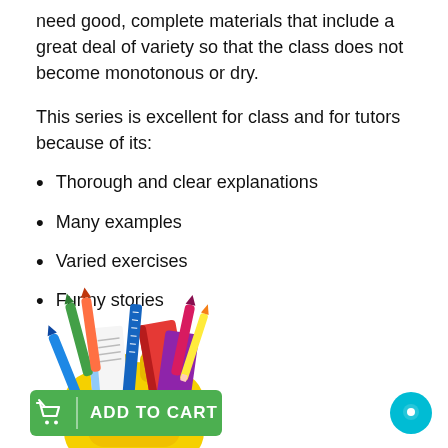need good, complete materials that include a great deal of variety so that the class does not become monotonous or dry.
This series is excellent for class and for tutors because of its:
Thorough and clear explanations
Many examples
Varied exercises
Funny stories
[Figure (illustration): Colorful illustration of a school backpack filled with school supplies including pencils, crayons, a ruler, notebooks, and a red book]
[Figure (other): Green 'Add to Cart' button with shopping cart icon]